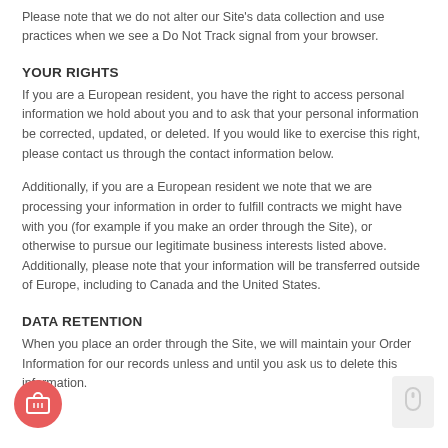Please note that we do not alter our Site's data collection and use practices when we see a Do Not Track signal from your browser.
YOUR RIGHTS
If you are a European resident, you have the right to access personal information we hold about you and to ask that your personal information be corrected, updated, or deleted. If you would like to exercise this right, please contact us through the contact information below.
Additionally, if you are a European resident we note that we are processing your information in order to fulfill contracts we might have with you (for example if you make an order through the Site), or otherwise to pursue our legitimate business interests listed above. Additionally, please note that your information will be transferred outside of Europe, including to Canada and the United States.
DATA RETENTION
When you place an order through the Site, we will maintain your Order Information for our records unless and until you ask us to delete this information.